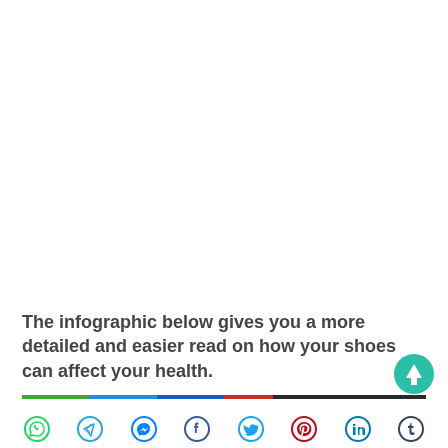The infographic below gives you a more detailed and easier read on how your shoes can affect your health.
[Figure (infographic): Teal circular up-arrow button]
[Figure (infographic): Horizontal multicolor bar separator (green, blue, dark blue, red, dark)]
[Figure (infographic): Social sharing icon bar with WhatsApp, Telegram, Messenger, Facebook, Twitter, Pinterest, LinkedIn, Tumblr icons]